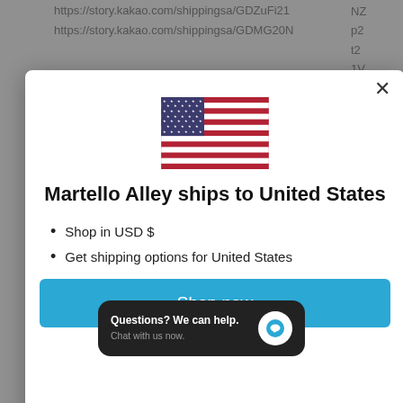https://story.kakao.com/shippingsa/GDZuFi21
https://story.kakao.com/shippingsa/GDMG20N
[Figure (screenshot): Modal dialog showing US flag, title 'Martello Alley ships to United States', bullet points 'Shop in USD $' and 'Get shipping options for United States', and a 'Shop now' button in blue]
Martello Alley ships to United States
Shop in USD $
Get shipping options for United States
Shop now
Questions? We can help. Chat with us now.
https://www.linkedin.com/feed/update/urn:li:sh
https://www.linkedin.com/feed/update/urn:li:sh